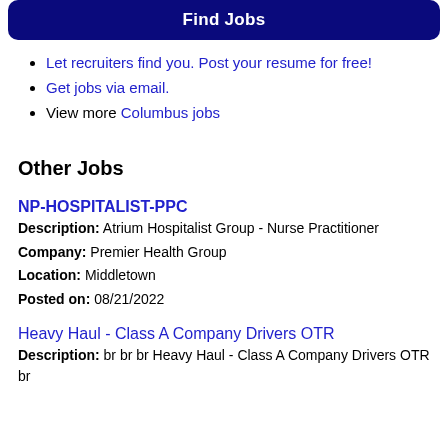Find Jobs
Let recruiters find you. Post your resume for free!
Get jobs via email.
View more Columbus jobs
Other Jobs
NP-HOSPITALIST-PPC
Description: Atrium Hospitalist Group - Nurse Practitioner
Company: Premier Health Group
Location: Middletown
Posted on: 08/21/2022
Heavy Haul - Class A Company Drivers OTR
Description: br br br Heavy Haul - Class A Company Drivers OTR br